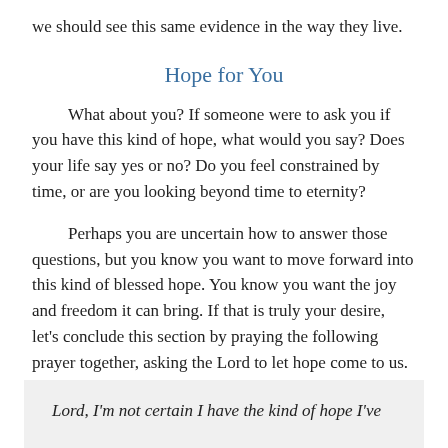we should see this same evidence in the way they live.
Hope for You
What about you? If someone were to ask you if you have this kind of hope, what would you say? Does your life say yes or no? Do you feel constrained by time, or are you looking beyond time to eternity?
Perhaps you are uncertain how to answer those questions, but you know you want to move forward into this kind of blessed hope. You know you want the joy and freedom it can bring. If that is truly your desire, let's conclude this section by praying the following prayer together, asking the Lord to let hope come to us.
Lord, I'm not certain I have the kind of hope I've